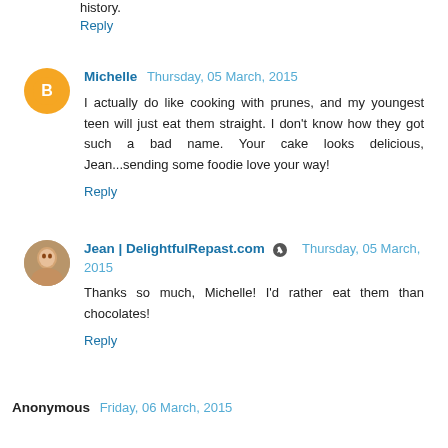history.
Reply
Michelle  Thursday, 05 March, 2015
I actually do like cooking with prunes, and my youngest teen will just eat them straight. I don't know how they got such a bad name. Your cake looks delicious, Jean...sending some foodie love your way!
Reply
Jean | DelightfulRepast.com  Thursday, 05 March, 2015
Thanks so much, Michelle! I'd rather eat them than chocolates!
Reply
Anonymous  Friday, 06 March, 2015